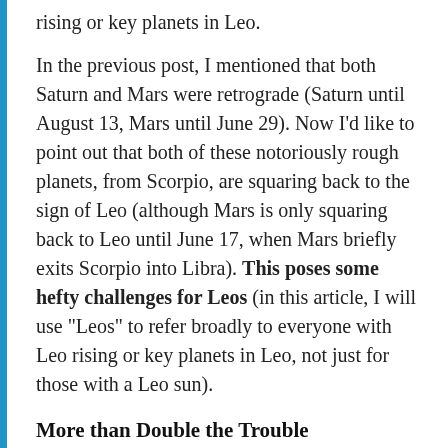rising or key planets in Leo.
In the previous post, I mentioned that both Saturn and Mars were retrograde (Saturn until August 13, Mars until June 29). Now I’d like to point out that both of these notoriously rough planets, from Scorpio, are squaring back to the sign of Leo (although Mars is only squaring back to Leo until June 17, when Mars briefly exits Scorpio into Libra). This poses some hefty challenges for Leos (in this article, I will use “Leos” to refer broadly to everyone with Leo rising or key planets in Leo, not just for those with a Leo sun).
More than Double the Trouble
Like the bullies at your old elementary school, Saturn and Mars are much more brutal when